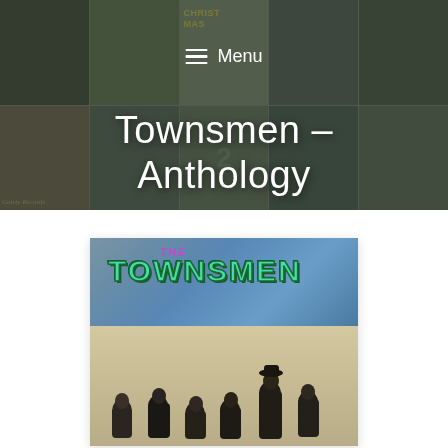[Figure (photo): Hero banner with collage of album covers in background (muted green/grey tones), overlaid with semi-transparent dark overlay. Shows 'Menu' navigation bar with hamburger icon and large white title text 'Townsmen – Anthology'.]
Townsmen – Anthology
[Figure (photo): Album cover for The Townsmen Anthology. Top portion has a blue diagonal background with stylized colorful logo text 'THE TOWNSMEN' in teal/cyan with purple accent. Bottom portion shows a black-and-white photograph of the band members (approximately 5-6 young men) posed casually against a light background.]